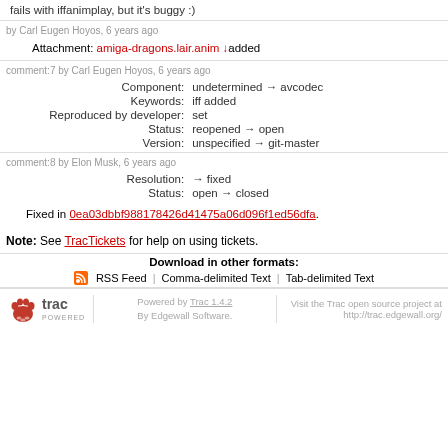fails with iffanimplay, but it's buggy :)
by Carl Eugen Hoyos, 6 years ago
Attachment: amiga-dragons.lair.anim added
comment:7 by Carl Eugen Hoyos, 6 years ago
| Field | Value |
| --- | --- |
| Component: | undetermined → avcodec |
| Keywords: | iff added |
| Reproduced by developer: | set |
| Status: | reopened → open |
| Version: | unspecified → git-master |
comment:8 by Elon Musk, 6 years ago
| Field | Value |
| --- | --- |
| Resolution: | → fixed |
| Status: | open → closed |
Fixed in 0ea03dbbf988178426d41475a06d096f1ed56dfa.
Note: See TracTickets for help on using tickets.
Download in other formats:
RSS Feed | Comma-delimited Text | Tab-delimited Text
Powered by Trac 1.4.2 By Edgewall Software. Visit the Trac open source project at http://trac.edgewall.org/